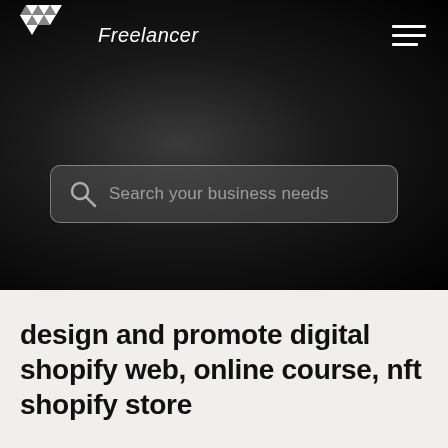[Figure (screenshot): Freelancer website header with dark gradient background, logo top-left, hamburger menu top-right, and search bar in the center]
design and promote digital shopify web, online course, nft shopify store